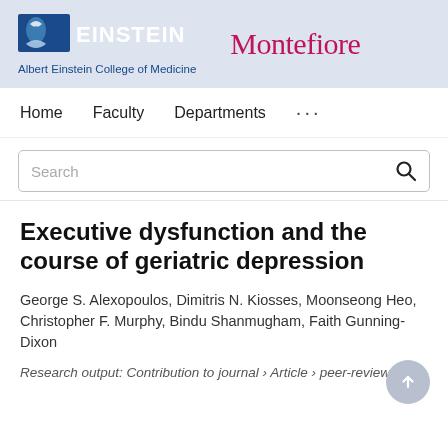[Figure (logo): Albert Einstein College of Medicine logo (blue box with Einstein stylized head icon and EINSTEIN text) alongside Montefiore logo in dark pink/maroon text]
Albert Einstein College of Medicine
Home   Faculty   Departments   ...
Executive dysfunction and the course of geriatric depression
George S. Alexopoulos, Dimitris N. Kiosses, Moonseong Heo, Christopher F. Murphy, Bindu Shanmugham, Faith Gunning-Dixon
Research output: Contribution to journal › Article › peer-review